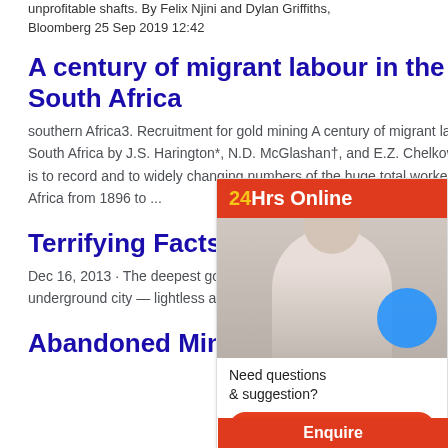unprofitable shafts. By Felix Njini and Dylan Griffiths, Bloomberg 25 Sep 2019 12:42
A century of migrant labour in the gold mines of South Africa
southern Africa3. Recruitment for gold mining A century of migrant labour in the gold mines of South Africa by J.S. Harington*, N.D. McGlashan†, and E.Z. Chelkowska‡ Synopsis Our purpose is to record and to widely changing numbers of the huge total workers on the gold mines of South Africa from 1896 to ...
Terrifying Facts About the World's Gold Mine
Dec 16, 2013 · The deepest gold mine in Mponeng, a 2.5-mile hole in the ground i whole underground city — lightless and la
Abandoned Mines -TOP 14
[Figure (other): Chat widget overlay with '24Hrs Online' red header, photo of a woman with headset, blue circle, 'Need questions & suggestion?' text, and 'Chat Now' button]